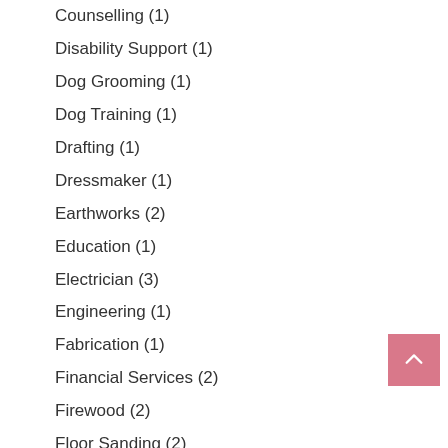Counselling (1)
Disability Support (1)
Dog Grooming (1)
Dog Training (1)
Drafting (1)
Dressmaker (1)
Earthworks (2)
Education (1)
Electrician (3)
Engineering (1)
Fabrication (1)
Financial Services (2)
Firewood (2)
Floor Sanding (2)
Flooring & Carpet (2)